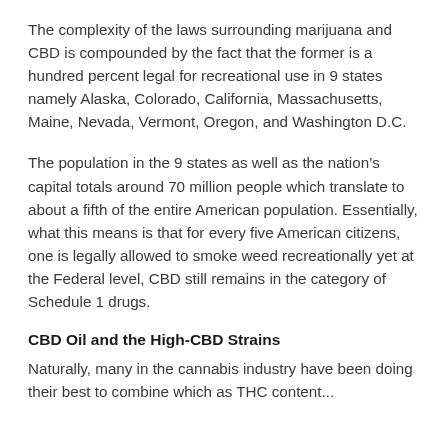The complexity of the laws surrounding marijuana and CBD is compounded by the fact that the former is a hundred percent legal for recreational use in 9 states namely Alaska, Colorado, California, Massachusetts, Maine, Nevada, Vermont, Oregon, and Washington D.C.
The population in the 9 states as well as the nation’s capital totals around 70 million people which translate to about a fifth of the entire American population. Essentially, what this means is that for every five American citizens, one is legally allowed to smoke weed recreationally yet at the Federal level, CBD still remains in the category of Schedule 1 drugs.
CBD Oil and the High-CBD Strains
Naturally, many in the cannabis industry have been doing their best to combine which as THC content...